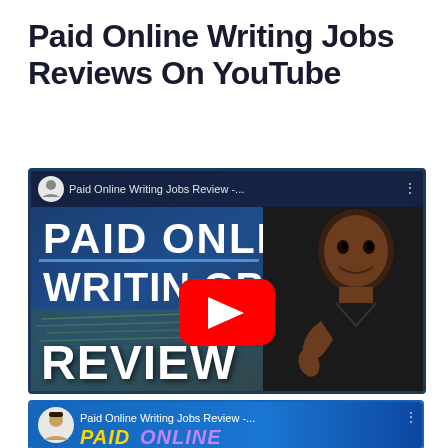Paid Online Writing Jobs Reviews On YouTube
[Figure (screenshot): YouTube video thumbnail for 'Paid Online Writing Jobs Review' showing a Black man giving thumbs up, with bold text 'PAID ONLINE WRITING JOBS REVIEW' on a dark blue background with money imagery and a YouTube play button.]
[Figure (screenshot): Second YouTube video thumbnail for 'Paid Online Writing Jobs Review' with colorful 'PAID ONLINE' text in yellow and purple on a blue background, with an avatar of an Asian man.]